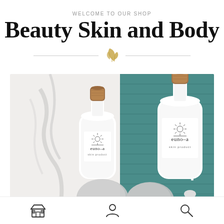WELCOME TO OUR SHOP
Beauty Skin and Body
[Figure (photo): Two white ceramic bottles with cork stoppers labeled 'euno-a', displayed on a marble surface with teal wooden boards and smooth stones in the background.]
Shop | Account | Search navigation icons